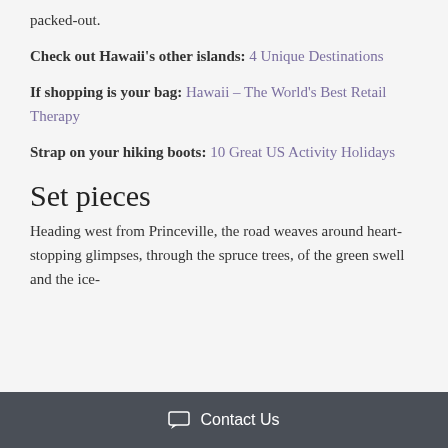packed-out.
Check out Hawaii's other islands: 4 Unique Destinations
If shopping is your bag: Hawaii – The World's Best Retail Therapy
Strap on your hiking boots: 10 Great US Activity Holidays
Set pieces
Heading west from Princeville, the road weaves around heart-stopping glimpses, through the spruce trees, of the green swell and the ice-
Contact Us